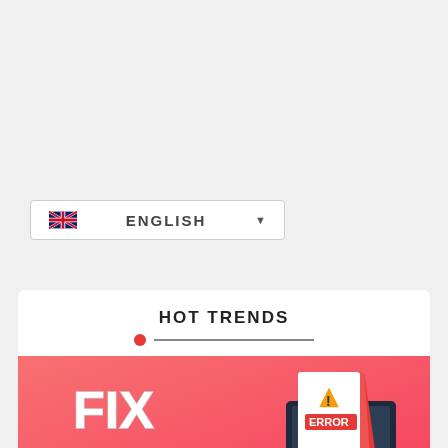[Figure (screenshot): Language selector dropdown showing UK flag and ENGLISH label with dropdown arrow]
HOT TRENDS
[Figure (illustration): Pink banner with 'FIX 0x0 0x0' text in bold white letters and a laptop with ERROR document graphic on the right side]